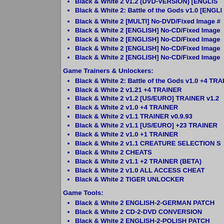Black & White 2 v1.2 (DVD-VERSION) [ENGLISH]
Black & White 2: Battle of the Gods v1.0 [ENGLISH]
Black & White 2 [MULTI] No-DVD/Fixed Image #
Black & White 2 [ENGLISH] No-CD/Fixed Image
Black & White 2 [ENGLISH] No-CD/Fixed Image
Black & White 2 [ENGLISH] No-CD/Fixed Image
Black & White 2 [ENGLISH] No-CD/Fixed Image
Game Trainers & Unlockers:
Black & White 2: Battle of the Gods v1.0 +4 TRAINER
Black & White 2 v1.21 +4 TRAINER
Black & White 2 v1.2 [US/EURO] TRAINER v1.2
Black & White 2 v1.0 +4 TRAINER
Black & White 2 v1.1 TRAINER v0.9.93
Black & White 2 v1.1 [US/EURO] +23 TRAINER
Black & White 2 v1.0 +1 TRAINER
Black & White 2 v1.1 CREATURE SELECTION
Black & White 2 CHEATS
Black & White 2 v1.1 +2 TRAINER (BETA)
Black & White 2 v1.0 ALL ACCESS CHEAT
Black & White 2 TIGER UNLOCKER
Game Tools:
Black & White 2 ENGLISH-2-GERMAN PATCH
Black & White 2 CD-2-DVD CONVERSION
Black & White 2 ENGLISH-2-POLISH PATCH